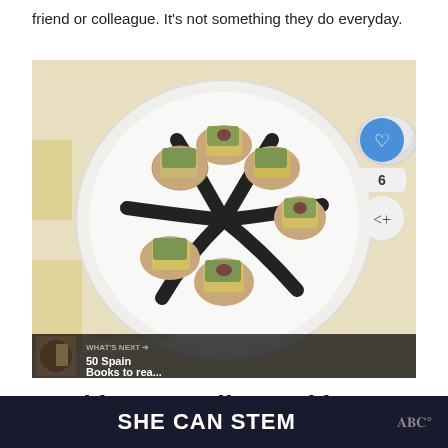friend or colleague. It's not something they do everyday.
[Figure (photo): A white plate with several pieces of toast topped with green spread and cubes of tortilla/pate, arranged with black elongated decorative elements radiating from the center. The watermark www.piccavey.com is visible. A 'What's Next' overlay shows '50 Spain Books to rea...']
Racíon or Media Racíon...
SHE CAN STEM